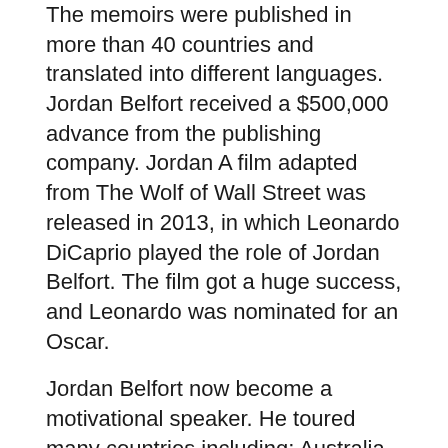The memoirs were published in more than 40 countries and translated into different languages. Jordan Belfort received a $500,000 advance from the publishing company. Jordan A film adapted from The Wolf of Wall Street was released in 2013, in which Leonardo DiCaprio played the role of Jordan Belfort. The film got a huge success, and Leonardo was nominated for an Oscar.
Jordan Belfort now become a motivational speaker. He toured many countries including; Australia and UAE. At the start, morals and motivation were the focus of his speeches, but now, he mainly speaks about the promotion of business and sales skills. Jordan Belfort per seminar speaking fees has been between $30,000 to $80,000.
Jordan Belfort: Education
Belfort continued his education at American University,